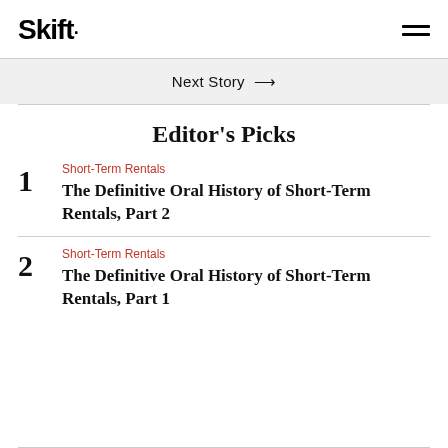Skift
Next Story →
Editor's Picks
1 Short-Term Rentals The Definitive Oral History of Short-Term Rentals, Part 2
2 Short-Term Rentals The Definitive Oral History of Short-Term Rentals, Part 1